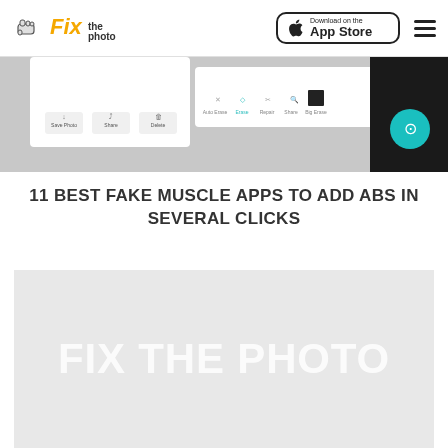Fix the photo | Download on the App Store
[Figure (screenshot): Screenshot of a photo editing app interface showing toolbar with Save Photo, Share, Delete buttons and Auto Enhance, Erase, Repair, Share, Big Erase tools, plus camera button on dark background]
11 BEST FAKE MUSCLE APPS TO ADD ABS IN SEVERAL CLICKS
[Figure (photo): Light gray placeholder image with white bold watermark text reading FIX THE PHOTO]